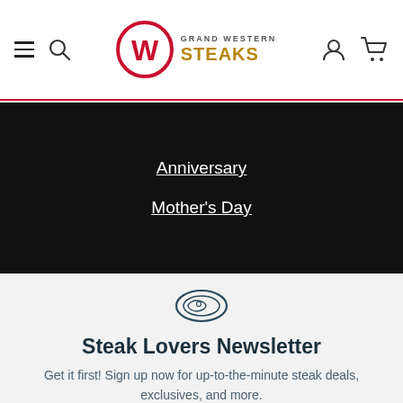[Figure (logo): Grand Western Steaks logo with red circular W icon and text]
Anniversary
Mother's Day
[Figure (illustration): Icon of a steak cut outline]
Steak Lovers Newsletter
Get it first! Sign up now for up-to-the-minute steak deals, exclusives, and more.
Your email address
Subscribe